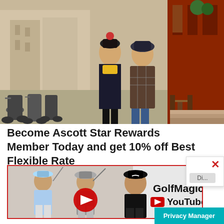[Figure (photo): Two women walking on a Paris street beside parked scooters with café tables on the right. Both are dressed in autumn/winter clothing.]
Become Ascott Star Rewards Member Today and get 10% off Best Flexible Rate
[Figure (screenshot): Popup overlay with red X close button.]
[Figure (screenshot): GolfMagic YouTube advertisement banner showing three golfers (Jon Rahm, Dustin Johnson, Rory McIlroy) with YouTube play button logo and GolfMagic YouTube branding.]
Privacy Manager